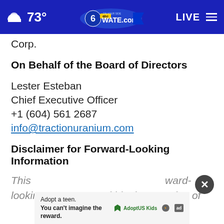73° WATE.com LIVE
Corp.
On Behalf of the Board of Directors
Lester Esteban
Chief Executive Officer
+1 (604) 561 2687
info@tractionuranium.com
Disclaimer for Forward-Looking Information
This [forward-looking statements within the meaning of